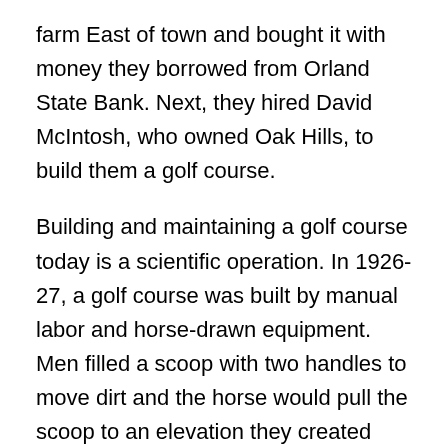farm East of town and bought it with money they borrowed from Orland State Bank. Next, they hired David McIntosh, who owned Oak Hills, to build them a golf course.
Building and maintaining a golf course today is a scientific operation. In 1926-27, a golf course was built by manual labor and horse-drawn equipment. Men filled a scoop with two handles to move dirt and the horse would pull the scoop to an elevation they created and the men then molded and sculpted the dirt into a green. Mowers were pulled by horses. The back-breaking work produced the original Cog Hill No. 1. It opened on the 4th of July weekend in 1927.
To complement the course, the Coghills constructed a large, beautiful clubhouse. The building housed a great dining room with a 24-foot ceiling, massive wood beams,